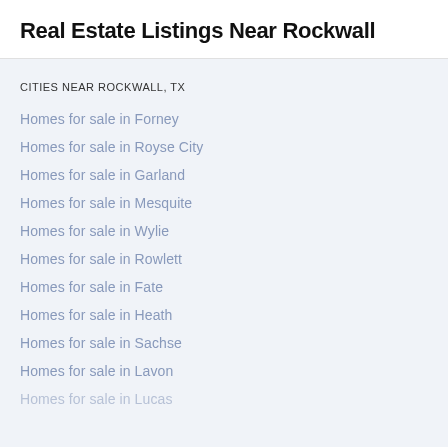Real Estate Listings Near Rockwall
CITIES NEAR ROCKWALL, TX
Homes for sale in Forney
Homes for sale in Royse City
Homes for sale in Garland
Homes for sale in Mesquite
Homes for sale in Wylie
Homes for sale in Rowlett
Homes for sale in Fate
Homes for sale in Heath
Homes for sale in Sachse
Homes for sale in Lavon
Homes for sale in Lucas